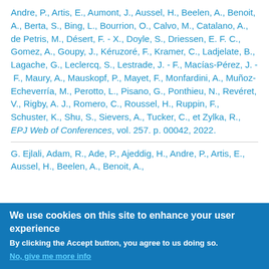Andre, P., Artis, E., Aumont, J., Aussel, H., Beelen, A., Benoit, A., Berta, S., Bing, L., Bourrion, O., Calvo, M., Catalano, A., de Petris, M., Désert, F. - X., Doyle, S., Driessen, E. F. C., Gomez, A., Goupy, J., Kéruzoré, F., Kramer, C., Ladjelate, B., Lagache, G., Leclercq, S., Lestrade, J. - F., Macías-Pérez, J. - F., Maury, A., Mauskopf, P., Mayet, F., Monfardini, A., Muñoz-Echeverría, M., Perotto, L., Pisano, G., Ponthieu, N., Revéret, V., Rigby, A. J., Romero, C., Roussel, H., Ruppin, F., Schuster, K., Shu, S., Sievers, A., Tucker, C., et Zylka, R., EPJ Web of Conferences, vol. 257. p. 00042, 2022.
G. Ejlali, Adam, R., Ade, P., Ajeddig, H., Andre, P., Artis, E., Aussel, H., Beelen, A., Benoit, A.,
We use cookies on this site to enhance your user experience
By clicking the Accept button, you agree to us doing so.
No, give me more info